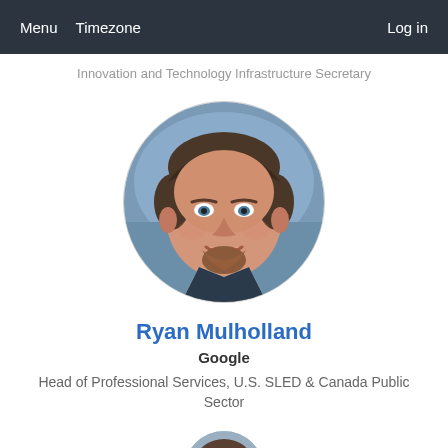Menu  Timezone  Log in
Innovation and Technology Infrastructure Secretary
[Figure (photo): Circular profile photo of Ryan Mulholland, a man with reddish-brown goatee and dark hair, smiling.]
Ryan Mulholland
Google
Head of Professional Services, U.S. SLED & Canada Public Sector
[Figure (photo): Partial circular profile photo of next speaker, cropped at bottom of page.]